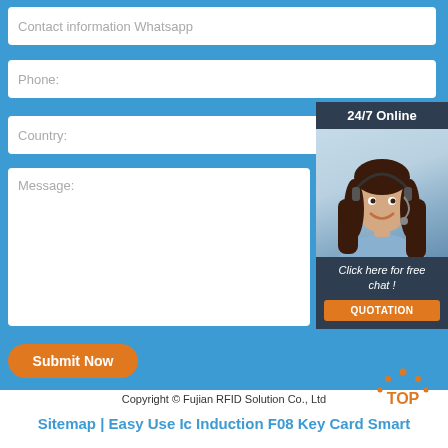Contact information Whatsapp
Phone:
Country:
Message:
[Figure (photo): Customer service representative woman with headset, smiling. 24/7 Online badge and Click here for free chat! text overlay with QUOTATION button.]
Submit Now
[Figure (other): TOP navigation button with orange dots arc above text]
Copyright © Fujian RFID Solution Co., Ltd
Sitemap | Easy Use Ic Induction F08 Key Card Smart